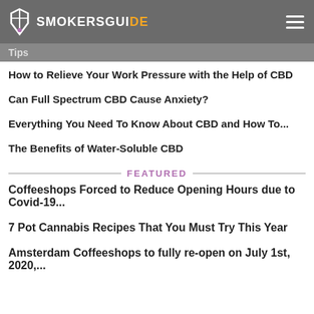SMOKERSGUIDE
Tips
How to Relieve Your Work Pressure with the Help of CBD
Can Full Spectrum CBD Cause Anxiety?
Everything You Need To Know About CBD and How To...
The Benefits of Water-Soluble CBD
FEATURED
Coffeeshops Forced to Reduce Opening Hours due to Covid-19...
7 Pot Cannabis Recipes That You Must Try This Year
Amsterdam Coffeeshops to fully re-open on July 1st, 2020,...